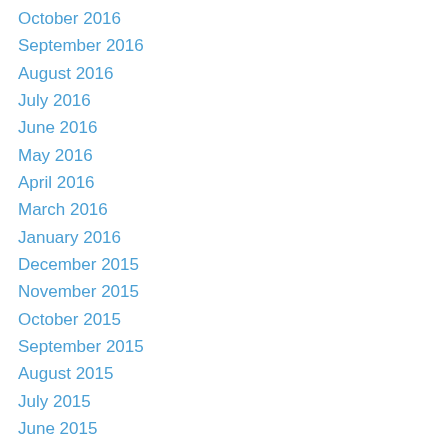October 2016
September 2016
August 2016
July 2016
June 2016
May 2016
April 2016
March 2016
January 2016
December 2015
November 2015
October 2015
September 2015
August 2015
July 2015
June 2015
May 2015
April 2015
March 2015
February 2015